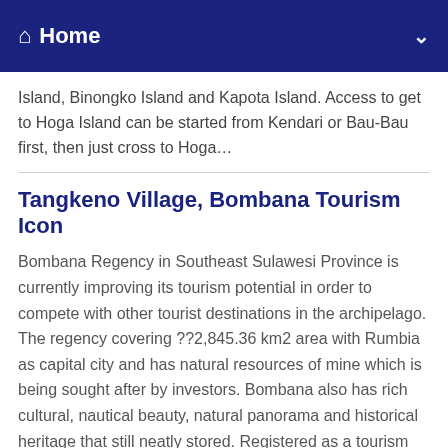Home
Island, Binongko Island and Kapota Island. Access to get to Hoga Island can be started from Kendari or Bau-Bau first, then just cross to Hoga…
Tangkeno Village, Bombana Tourism Icon
Bombana Regency in Southeast Sulawesi Province is currently improving its tourism potential in order to compete with other tourist destinations in the archipelago. The regency covering ??2,845.36 km2 area with Rumbia as capital city and has natural resources of mine which is being sought after by investors. Bombana also has rich cultural, nautical beauty, natural panorama and historical heritage that still neatly stored. Registered as a tourism village, Tangkeno receives district government support to maintain its natural landscape, including the springs that flow across the island. Tangkeno has long been…
Moramo Waterfall, The Fairies Bathing Palace
Moramo Waterfall is located in Tanjung Peropa Nature